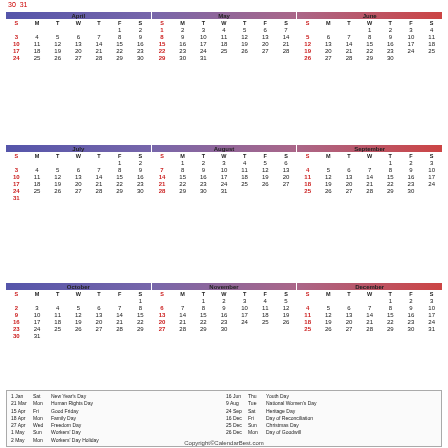30  31
| April | May | June |
| --- | --- | --- |
| calendar grid |
| July | August | September |
| --- | --- | --- |
| calendar grid |
| October | November | December |
| --- | --- | --- |
| calendar grid |
| Date | Day | Holiday |
| --- | --- | --- |
| 1 Jan | Sat | New Year's Day |
| 21 Mar | Mon | Human Rights Day |
| 15 Apr | Fri | Good Friday |
| 18 Apr | Mon | Family Day |
| 27 Apr | Wed | Freedom Day |
| 1 May | Sun | Workers' Day |
| 2 May | Mon | Workers' Day Holiday |
| 16 Jun | Thu | Youth Day |
| 9 Aug | Tue | National Women's Day |
| 24 Sep | Sat | Heritage Day |
| 16 Dec | Fri | Day of Reconciliation |
| 25 Dec | Sun | Christmas Day |
| 26 Dec | Mon | Day of Goodwill |
Copyright©CalendarBest.com